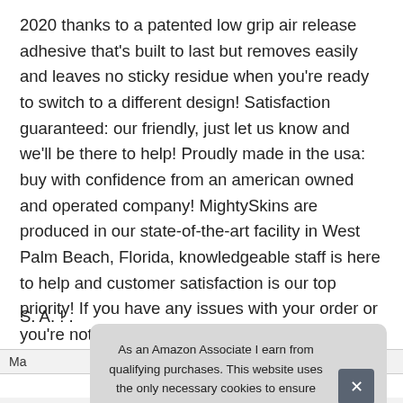2020 thanks to a patented low grip air release adhesive that's built to last but removes easily and leaves no sticky residue when you're ready to switch to a different design! Satisfaction guaranteed: our friendly, just let us know and we'll be there to help! Proudly made in the usa: buy with confidence from an american owned and operated company! MightySkins are produced in our state-of-the-art facility in West Palm Beach, Florida, knowledgeable staff is here to help and customer satisfaction is our top priority! If you have any issues with your order or you're not happy for any reason, proudly made in the U.
S. A. ! .
| Ma |  |
| Height | 1 Inches |
As an Amazon Associate I earn from qualifying purchases. This website uses the only necessary cookies to ensure you get the best experience on our website. More information